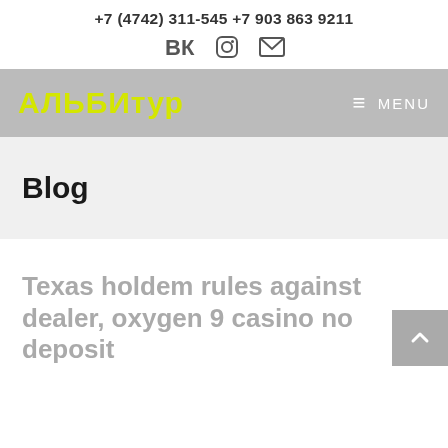+7 (4742) 311-545 +7 903 863 9211
[Figure (logo): АЛЬБИтур logo with yellow text on gray navigation bar, and MENU hamburger on the right]
Blog
Texas holdem rules against dealer, oxygen 9 casino no deposit